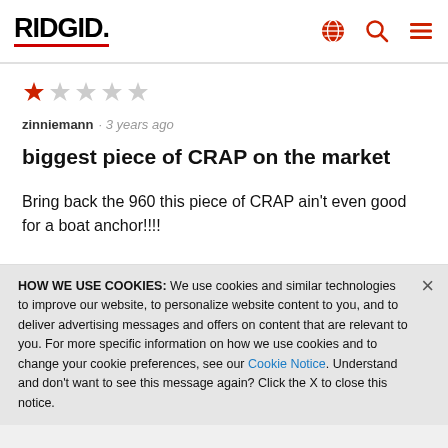RIDGID
zinniemann · 3 years ago
biggest piece of CRAP on the market
Bring back the 960 this piece of CRAP ain't even good for a boat anchor!!!!
HOW WE USE COOKIES: We use cookies and similar technologies to improve our website, to personalize website content to you, and to deliver advertising messages and offers on content that are relevant to you. For more specific information on how we use cookies and to change your cookie preferences, see our Cookie Notice. Understand and don't want to see this message again? Click the X to close this notice.